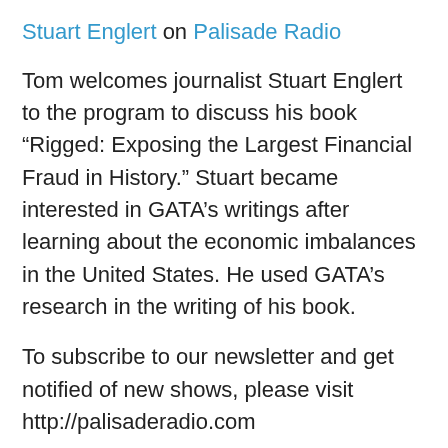Stuart Englert on Palisade Radio
Tom welcomes journalist Stuart Englert to the program to discuss his book “Rigged: Exposing the Largest Financial Fraud in History.” Stuart became interested in GATA’s writings after learning about the economic imbalances in the United States. He used GATA’s research in the writing of his book.
To subscribe to our newsletter and get notified of new shows, please visit http://palisaderadio.com
Stuart breaks down the US’s economic history over the 20th century and all of the pivotal events. There have been several crucial moments starting in 1933 with the decision to make ownership of gold illegal. He outlines the impact of the Exchange Stabilization Act and the Silver Purchase Act and how this led to